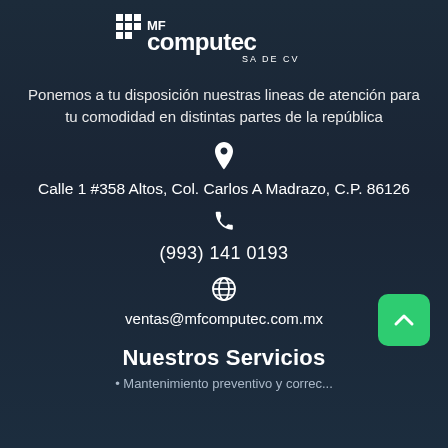[Figure (logo): MF Computec SA DE CV logo in white on dark background, with grid icon on left]
Ponemos a tu disposición nuestras lineas de atención para tu comodidad en distintas partes de la república
Calle 1 #358 Altos, Col. Carlos A Madrazo, C.P. 86126
(993) 141 0193
ventas@mfcomputec.com.mx
Nuestros Servicios